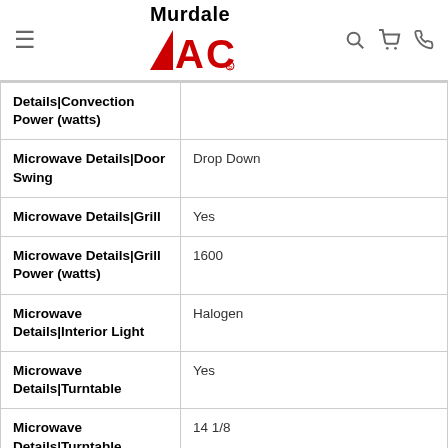Murdale ACE
| Attribute | Value |
| --- | --- |
| Details|Convection Power (watts) |  |
| Microwave Details|Door Swing | Drop Down |
| Microwave Details|Grill | Yes |
| Microwave Details|Grill Power (watts) | 1600 |
| Microwave Details|Interior Light | Halogen |
| Microwave Details|Turntable | Yes |
| Microwave Details|Turntable Diameter (inches) | 14 1/8 |